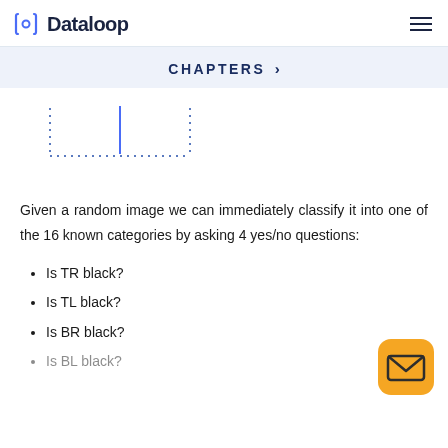Dataloop
CHAPTERS >
[Figure (illustration): Dotted bounding box with a vertical line (cursor) inside, representing an image annotation or cropping tool interface.]
Given a random image we can immediately classify it into one of the 16 known categories by asking 4 yes/no questions:
Is TR black?
Is TL black?
Is BR black?
Is BL black?